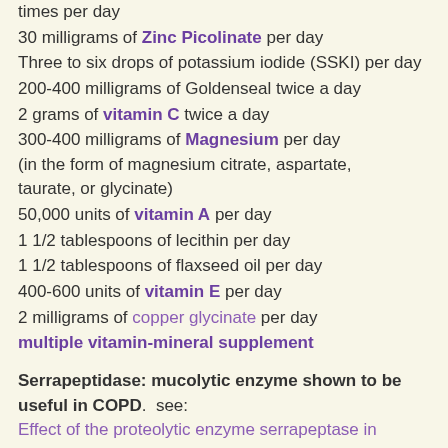times per day
30 milligrams of Zinc Picolinate per day
Three to six drops of potassium iodide (SSKI) per day
200-400 milligrams of Goldenseal twice a day
2 grams of vitamin C twice a day
300-400 milligrams of Magnesium per day (in the form of magnesium citrate, aspartate, taurate, or glycinate)
50,000 units of vitamin A per day
1 1/2 tablespoons of lecithin per day
1 1/2 tablespoons of flaxseed oil per day
400-600 units of vitamin E per day
2 milligrams of copper glycinate per day
multiple vitamin-mineral supplement
Serrapeptidase: mucolytic enzyme shown to be useful in COPD. see: Effect of the proteolytic enzyme serrapeptase in patients with chronic airway disease. by Nakamura S Department of Respiratory Medicine, Tokyo. Respirology. 2003 Sep;8(3):316-20.
Buy Serrapeptidase